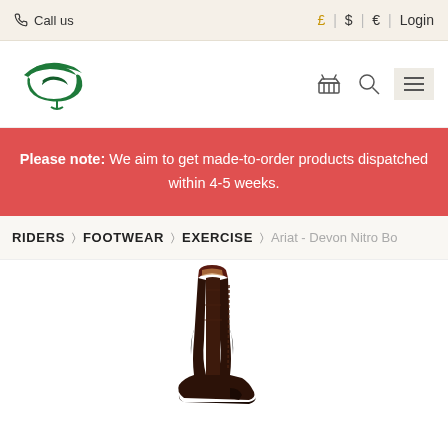Call us | £ | $ | € | Login
[Figure (logo): Green equestrian logo with stylized horse and rider initials GS]
Please note: We aim to get made-to-order products dispatched within 4-5 weeks.
RIDERS > FOOTWEAR > EXERCISE > Ariat - Devon Nitro Bo...
[Figure (photo): Brown leather Ariat Devon Nitro Boot shown from the side, partially visible at bottom of page]